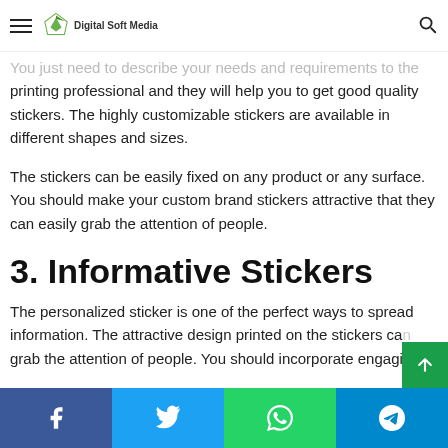Digital Soft Media
in creating personalized stickers. You just need to describe your needs and requirements to the printing professional and they will help you to get good quality stickers. The highly customizable stickers are available in different shapes and sizes.
The stickers can be easily fixed on any product or any surface. You should make your custom brand stickers attractive that they can easily grab the attention of people.
3. Informative Stickers
The personalized sticker is one of the perfect ways to spread information. The attractive design printed on the stickers can grab the attention of people. You should incorporate engaging